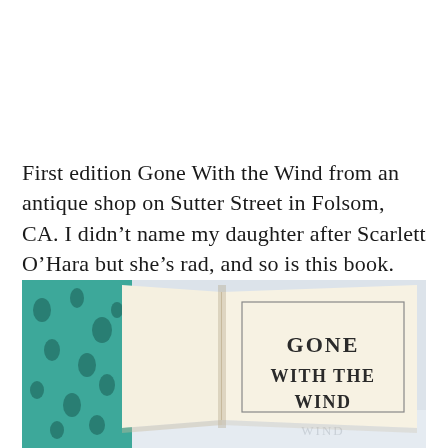First edition Gone With the Wind from an antique shop on Sutter Street in Folsom, CA. I didn't name my daughter after Scarlett O'Hara but she's rad, and so is this book. Score!
[Figure (photo): Open first edition book showing title page with text 'GONE WITH THE WIND' in serif capitals, with a teal/green patterned fabric visible on the left side, on a light background.]